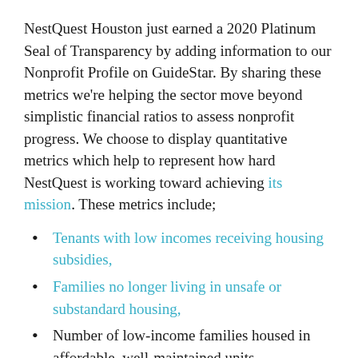NestQuest Houston just earned a 2020 Platinum Seal of Transparency by adding information to our Nonprofit Profile on GuideStar. By sharing these metrics we're helping the sector move beyond simplistic financial ratios to assess nonprofit progress. We choose to display quantitative metrics which help to represent how hard NestQuest is working toward achieving its mission. These metrics include;
Tenants with low incomes receiving housing subsidies,
Families no longer living in unsafe or substandard housing,
Number of low-income families housed in affordable, well-maintained units,
Number of households which remain in place for least 18 months.